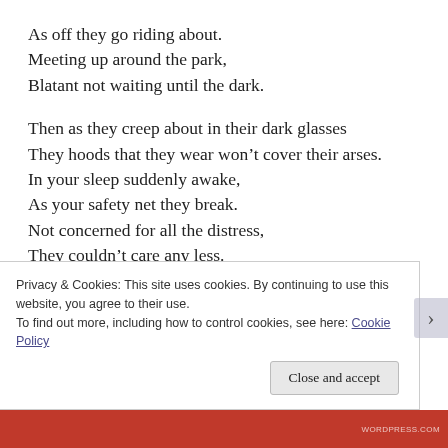As off they go riding about.
Meeting up around the park,
Blatant not waiting until the dark.
Then as they creep about in their dark glasses
They hoods that they wear won’t cover their arses.
In your sleep suddenly awake,
As your safety net they break.
Not concerned for all the distress,
They couldn’t care any less.
Can view the hatred in their face,
Around this godforsaken place.
Privacy & Cookies: This site uses cookies. By continuing to use this website, you agree to their use.
To find out more, including how to control cookies, see here: Cookie Policy